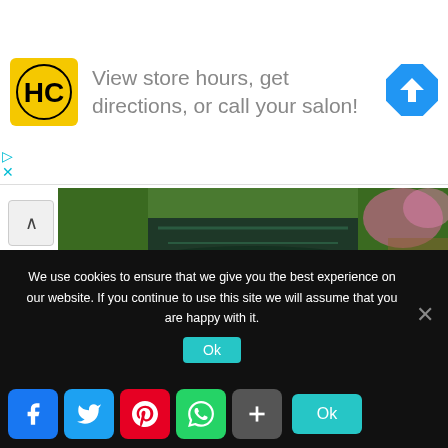[Figure (screenshot): Advertisement banner with HC logo and text 'View store hours, get directions, or call your salon!' with a blue direction arrow icon]
[Figure (photo): Aerial or canal view of a lush green area with a water channel and pink flowers visible at the right edge, partially showing a wooden boardwalk]
Have you ever seen that viral video that floats around on Facebook from time to time showing a city in the Netherlands where there are no cars and you just have to take a boat from place to place? That place actually exists, and its called Giethoorn. Ugly name, beautiful place... the
We use cookies to ensure that we give you the best experience on our website. If you continue to use this site we will assume that you are happy with it.
[Figure (screenshot): Social share bar with Facebook, Twitter, Pinterest, WhatsApp, and More buttons, plus an Ok button]